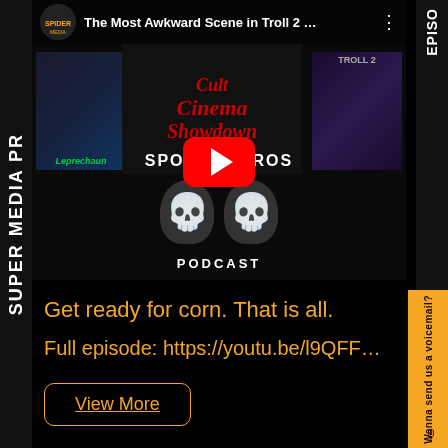[Figure (screenshot): YouTube video thumbnail for 'The Most Awkward Scene in Troll 2...' showing Cult Cinema Showdown with Leprechaun and Troll 2 movie posters, featuring Spooky Bros Podcast logo with skull imagery and YouTube play button overlay]
Get ready for corn. That is all.
Full episode: https://youtu.be/l9QFFHl1a...
View More